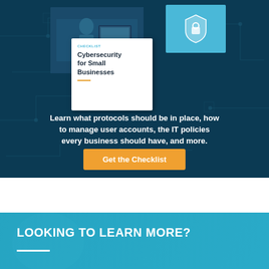[Figure (infographic): Dark teal/navy banner with circuit board background, showing a collage of server room photo, blue icon box, and a white checklist card titled 'Cybersecurity for Small Businesses'. Includes descriptive text and an orange CTA button.]
Learn what protocols should be in place, how to manage user accounts, the IT policies every business should have, and more.
Get the Checklist
LOOKING TO LEARN MORE?